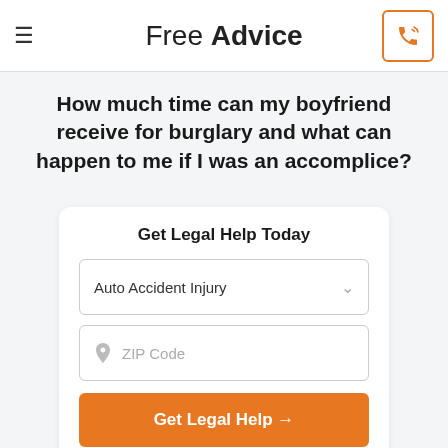Free Advice
How much time can my boyfriend receive for burglary and what can happen to me if I was an accomplice?
Get Legal Help Today
Auto Accident Injury
ZIP Code
Get Legal Help →